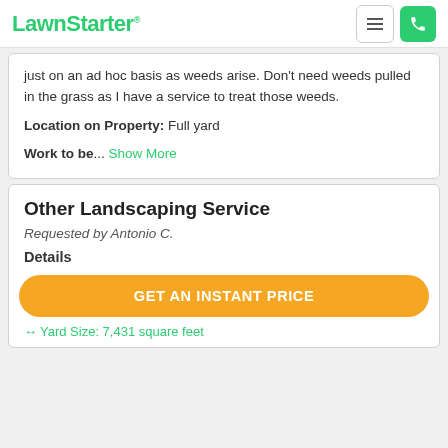LawnStarter
just on an ad hoc basis as weeds arise. Don't need weeds pulled in the grass as I have a service to treat those weeds.
Location on Property: Full yard
Work to be... Show More
Other Landscaping Service
Requested by Antonio C.
Details
GET AN INSTANT PRICE
↔ Yard Size: 7,431 square feet